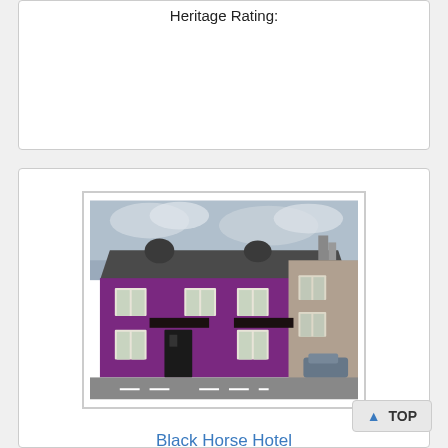Heritage Rating:
[Figure (photo): Photo of Black Horse Hotel building with purple/magenta painted facade, multiple dormer windows, and slate roof. Located on a street in Newton Stewart, Scotland.]
Black Horse Hotel
Newton Stewart - 35.2 miles from Old Bridge House Museum